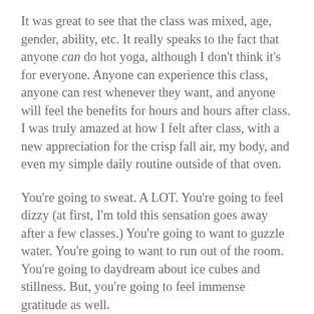It was great to see that the class was mixed, age, gender, ability, etc. It really speaks to the fact that anyone can do hot yoga, although I don't think it's for everyone. Anyone can experience this class, anyone can rest whenever they want, and anyone will feel the benefits for hours and hours after class. I was truly amazed at how I felt after class, with a new appreciation for the crisp fall air, my body, and even my simple daily routine outside of that oven.
You're going to sweat. A LOT. You're going to feel dizzy (at first, I'm told this sensation goes away after a few classes.) You're going to want to guzzle water. You're going to want to run out of the room. You're going to daydream about ice cubes and stillness. But, you're going to feel immense gratitude as well.
Hamptons Hot Yoga offers two variations; Bikram Hot Yoga and Hot Vinyasa, both open-level and all-inclusive. I gave the 90 minute Bikram class a try and plan to go back for